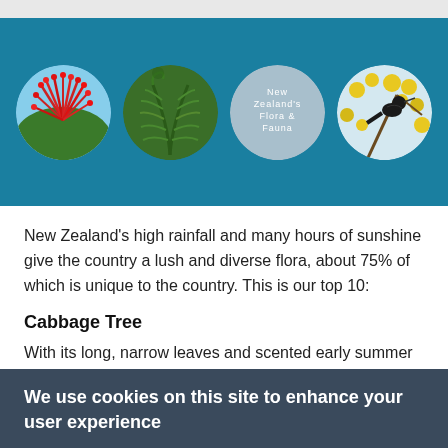[Figure (photo): Teal banner with four circular images/graphics: a red pohutukawa flower, a green fern frond, a grey circle with text 'New Zealand's Flora & Fauna', and a black bird on yellow flowers]
New Zealand's high rainfall and many hours of sunshine give the country a lush and diverse flora, about 75% of which is unique to the country. This is our top 10:
Cabbage Tree
With its long, narrow leaves and scented early summer flowers, the Cabbage Tree is one of New Zealand's most
We use cookies on this site to enhance your user experience